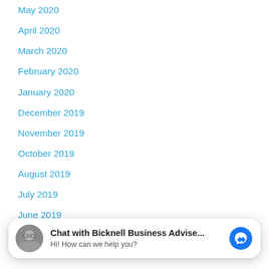May 2020
April 2020
March 2020
February 2020
January 2020
December 2019
November 2019
October 2019
August 2019
July 2019
June 2019
May 2019
[Figure (screenshot): Facebook Messenger chat widget overlay showing avatar photo, 'Chat with Bicknell Business Advise...' title, 'Hi! How can we help you?' subtitle, and blue Messenger icon button]
March 2019